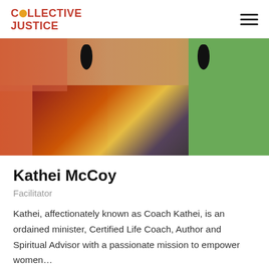COLLECTIVE JUSTICE
[Figure (photo): Portrait photo of Kathei McCoy, a woman wearing black cluster earrings and a colorful African print off-shoulder dress, photographed outdoors with green and orange foliage in the background.]
Kathei McCoy
Facilitator
Kathei, affectionately known as Coach Kathei, is an ordained minister, Certified Life Coach, Author and Spiritual Advisor with a passionate mission to empower women...